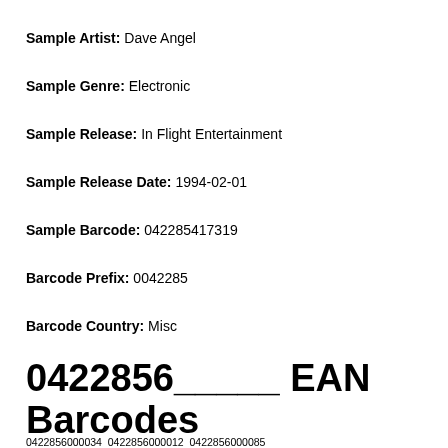Sample Artist: Dave Angel
Sample Genre: Electronic
Sample Release: In Flight Entertainment
Sample Release Date: 1994-02-01
Sample Barcode: 042285417319
Barcode Prefix: 0042285
Barcode Country: Misc
0422856_____ EAN Barcodes
0422856000034  0422856000012  0422856000085